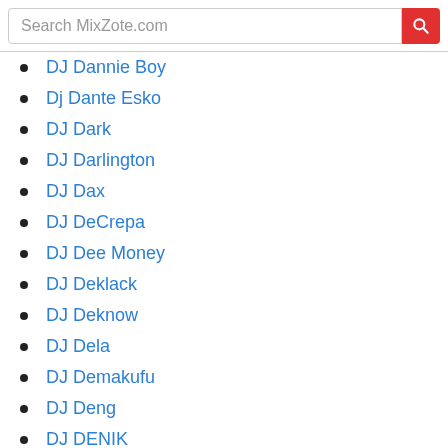Search MixZote.com
DJ Dannie Boy
Dj Dante Esko
DJ Dark
DJ Darlington
DJ Dax
DJ DeCrepa
DJ Dee Money
DJ Deklack
DJ Deknow
DJ Dela
DJ Demakufu
DJ Deng
DJ DENIK
DJ Derf